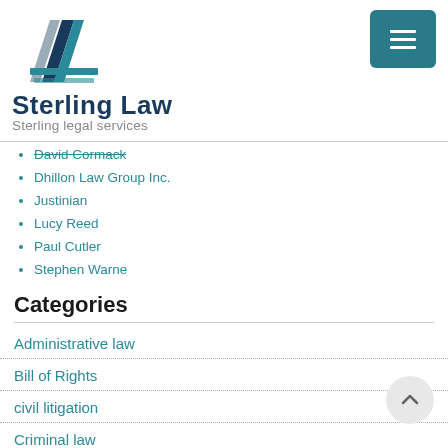[Figure (logo): Sterling Law logo with geometric triangle/arrow shapes in dark blue, grey, and teal, with company name 'Sterling Law' and tagline 'Sterling legal services']
David Cormack
Dhillon Law Group Inc.
Justinian
Lucy Reed
Paul Cutler
Stephen Warne
Categories
Administrative law
Bill of Rights
civil litigation
Criminal law
Defamation